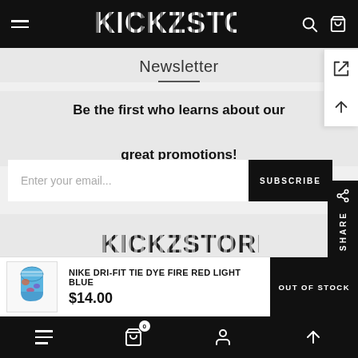KICKZSTORE — navigation bar with hamburger menu, logo, search and cart icons
Newsletter
Be the first who learns about our great promotions!
Enter your email... SUBSCRIBE
[Figure (logo): KICKZSTORE logo in striped/glitch style font on light background]
NIKE DRI-FIT TIE DYE FIRE RED LIGHT BLUE $14.00 OUT OF STOCK
Bottom navigation bar with hamburger, cart (0), user, and up-arrow icons